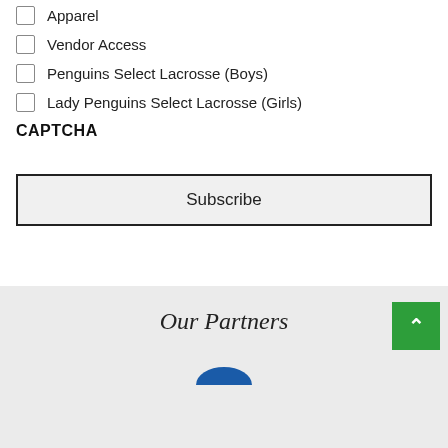Apparel
Vendor Access
Penguins Select Lacrosse (Boys)
Lady Penguins Select Lacrosse (Girls)
CAPTCHA
Subscribe
Our Partners